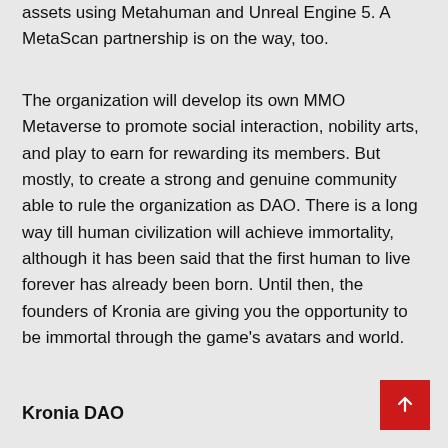assets using Metahuman and Unreal Engine 5. A MetaScan partnership is on the way, too.
The organization will develop its own MMO Metaverse to promote social interaction, nobility arts, and play to earn for rewarding its members. But mostly, to create a strong and genuine community able to rule the organization as DAO. There is a long way till human civilization will achieve immortality, although it has been said that the first human to live forever has already been born. Until then, the founders of Kronia are giving you the opportunity to be immortal through the game's avatars and world.
Kronia DAO